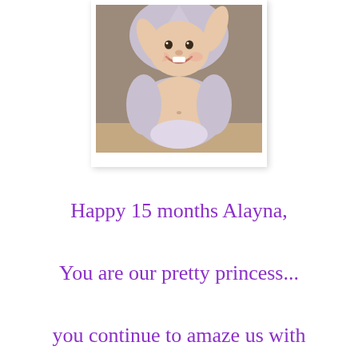[Figure (photo): Baby smiling wrapped in a hooded towel, arms raised, sitting on a surface. Photo presented as a polaroid-style print with white border.]
Happy 15 months Alayna,
You are our pretty princess...
you continue to amaze us with